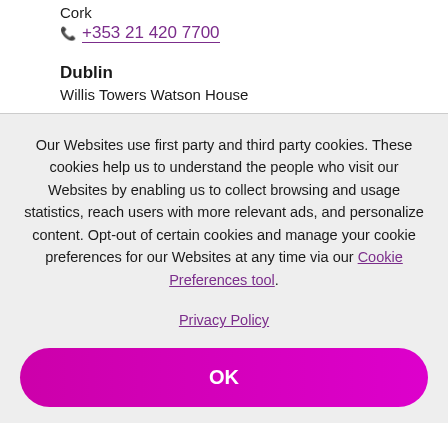Cork
+353 21 420 7700
Dublin
Willis Towers Watson House
Our Websites use first party and third party cookies. These cookies help us to understand the people who visit our Websites by enabling us to collect browsing and usage statistics, reach users with more relevant ads, and personalize content. Opt-out of certain cookies and manage your cookie preferences for our Websites at any time via our Cookie Preferences tool.
Privacy Policy
OK